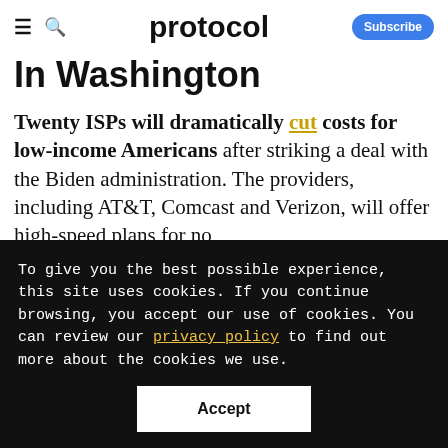protocol — Subscribe
In Washington
Twenty ISPs will dramatically cut costs for low-income Americans after striking a deal with the Biden administration. The providers, including AT&T, Comcast and Verizon, will offer high-speed plans for no more than $30 a month. That deal, combined
To give you the best possible experience, this site uses cookies. If you continue browsing, you accept our use of cookies. You can review our privacy policy to find out more about the cookies we use.
Accept